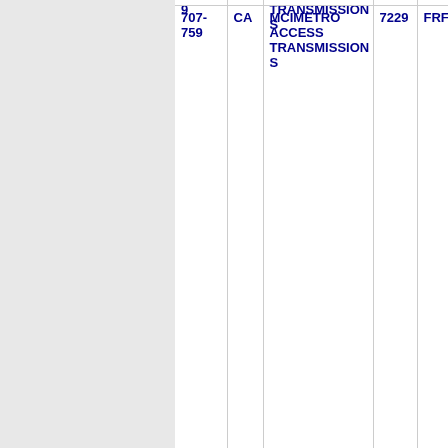| 9 |  | TRANSMISSIONS |  |  |
| 707-759 | CA | MCIMETRO ACCESS TRANSMISSIONS | 7229 | FRFL |